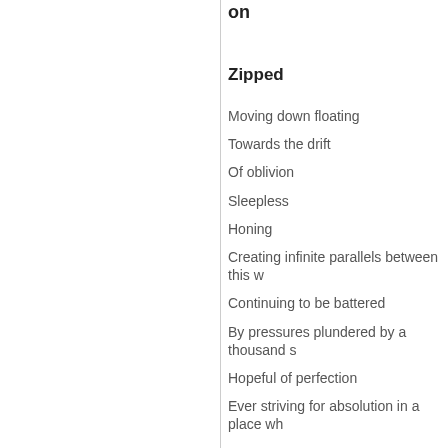on
Zipped
Moving down floating
Towards the drift
Of oblivion
Sleepless
Honing
Creating infinite parallels between this w
Continuing to be battered
By pressures plundered by a thousand s
Hopeful of perfection
Ever striving for absolution in a place wh